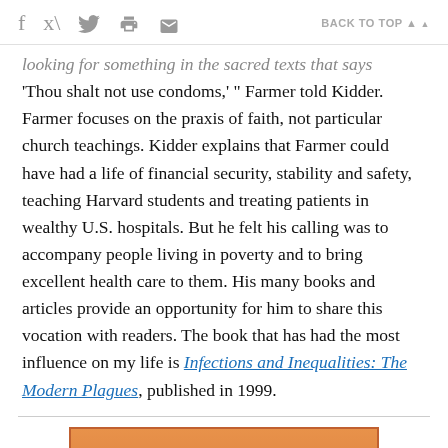f [twitter] [print] [email]   BACK TO TOP ▲
looking for something in the sacred texts that says 'Thou shalt not use condoms,' " Farmer told Kidder. Farmer focuses on the praxis of faith, not particular church teachings. Kidder explains that Farmer could have had a life of financial security, stability and safety, teaching Harvard students and treating patients in wealthy U.S. hospitals. But he felt his calling was to accompany people living in poverty and to bring excellent health care to them. His many books and articles provide an opportunity for him to share this vocation with readers. The book that has had the most influence on my life is Infections and Inequalities: The Modern Plagues, published in 1999.
[Figure (logo): National Catholic Reporter Fall Books advertisement banner with orange gradient background and white serif text]